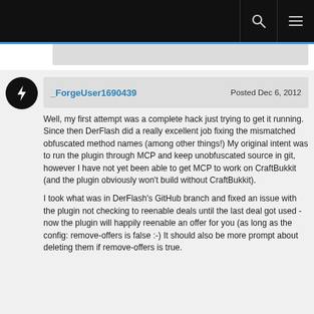Navigation bar with search and menu icons
_ForgeUser1690439 — Posted Dec 6, 2012
Well, my first attempt was a complete hack just trying to get it running. Since then DerFlash did a really excellent job fixing the mismatched obfuscated method names (among other things!) My original intent was to run the plugin through MCP and keep unobfuscated source in git, however I have not yet been able to get MCP to work on CraftBukkit (and the plugin obviously won't build without CraftBukkit).
I took what was in DerFlash's GitHub branch and fixed an issue with the plugin not checking to reenable deals until the last deal got used - now the plugin will happily reenable an offer for you (as long as the config: remove-offers is false :-) It should also be more prompt about deleting them if remove-offers is true.